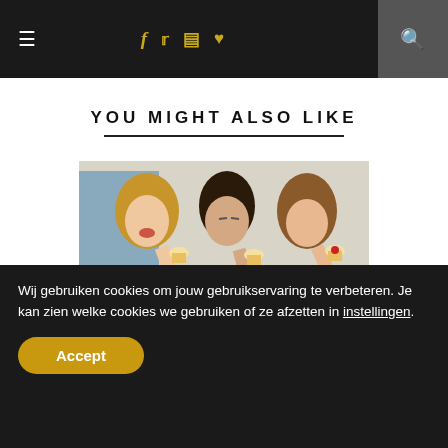Navigation bar with hamburger menu, social icons (f, twitter, instagram, heart), and search icon
YOU MIGHT ALSO LIKE
[Figure (photo): Three women in red shirts eating cupcakes together at a table]
Wij gebruiken cookies om jouw gebruikservaring te verbeteren. Je kan zien welke cookies we gebruiken of ze afzetten in instellingen.
Accept